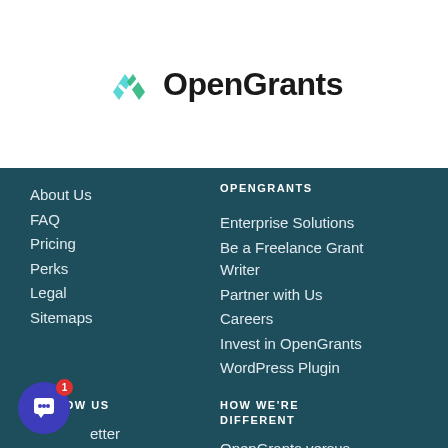[Figure (logo): OpenGrants logo with teal checkmark icon and bold black text]
OPENGRANTS
About Us
FAQ
Pricing
Perks
Legal
Sitemaps
Enterprise Solutions
Be a Freelance Grant Writer
Partner with Us
Careers
Invest in OpenGrants
WordPress Plugin
FOLLOW US
Newsletter
Blog
HOW WE'RE DIFFERENT
OpenGrants versus